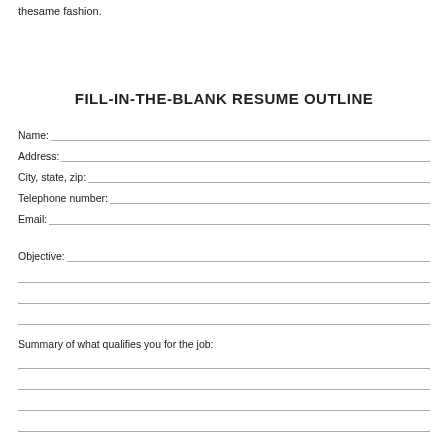thesame fashion.
FILL-IN-THE-BLANK RESUME OUTLINE
Name:
Address:
City, state, zip:
Telephone number:
Email:
Objective:
Summary of what qualifies you for the job: